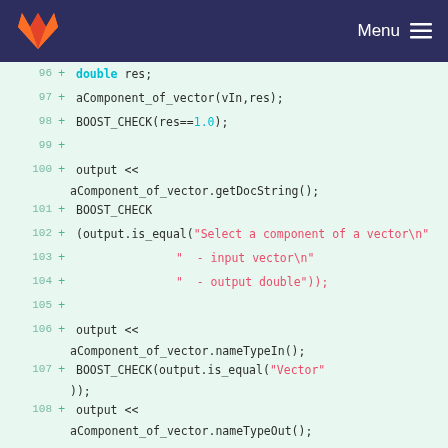GitLab Menu
[Figure (screenshot): Code diff view showing lines 96-108 of a C++ source file with added lines marked with +]
96 + double res;
97 + aComponent_of_vector(vIn,res);
98 + BOOST_CHECK(res==1.0);
99 +
100 + output << aComponent_of_vector.getDocString();
101 + BOOST_CHECK
102 + (output.is_equal("Select a component of a vector\n"
103 + " - input vector\n"
104 + " - output double"));
105 +
106 + output << aComponent_of_vector.nameTypeIn();
107 + BOOST_CHECK(output.is_equal("Vector"));
108 + output << aComponent_of_vector.nameTypeOut();